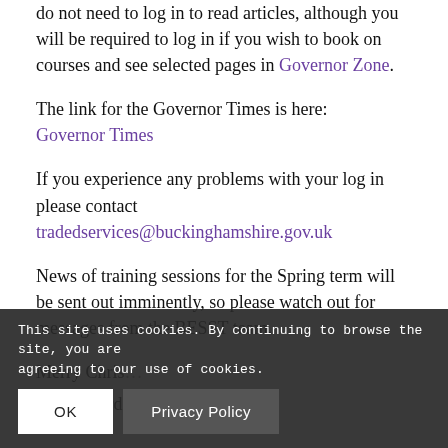do not need to log in to read articles, although you will be required to log in if you wish to book on courses and see selected pages in Governor Zone.
The link for the Governor Times is here: Governor Times
If you experience any problems with your log in please contact tradedservices@buckinghamshire.gov.uk
News of training sessions for the Spring term will be sent out imminently, so please watch out for messages from the BESST team.
Merry Chris...
Kind regard...
This site uses cookies. By continuing to browse the site, you are agreeing to our use of cookies.